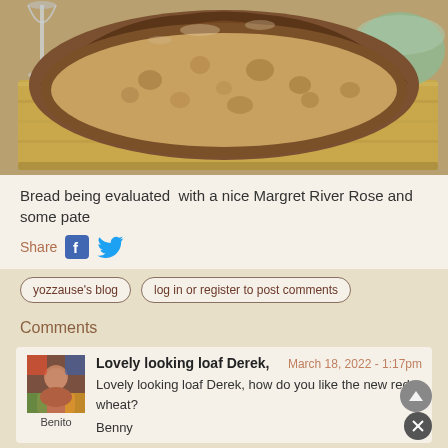[Figure (photo): A loaf of bread sliced open, showing the interior crumb, placed on a wooden cutting board. In the background there is a wine glass and a green bowl.]
Bread being evaluated  with a nice Margret River Rose and some pate
Share
yozzause's blog
log in or register to post comments
Comments
Lovely looking loaf Derek,
March 18, 2022 - 1:17pm
Lovely looking loaf Derek, how do you like the new red wheat?

Benny